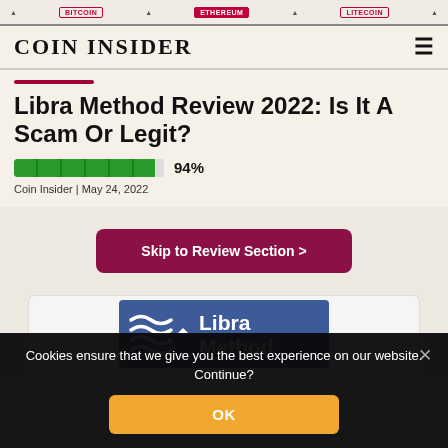COIN INSIDER
Libra Method Review 2022: Is It A Scam Or Legit?
94%
Coin Insider | May 24, 2022
Skip to Review Section >
[Figure (logo): Libra Method logo — blue rectangle with white wave lines and white text 'Libra Method']
Cookies ensure that we give you the best experience on our website. Continue?
OK